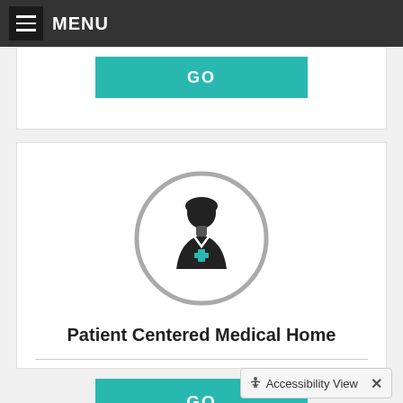MENU
[Figure (screenshot): GO button (teal) from a partially visible card above]
[Figure (illustration): Circular icon showing a nurse/medical professional figure with a cross symbol, inside a gray-outlined circle]
Patient Centered Medical Home
[Figure (screenshot): GO button (teal) in the main card]
Accessibility View